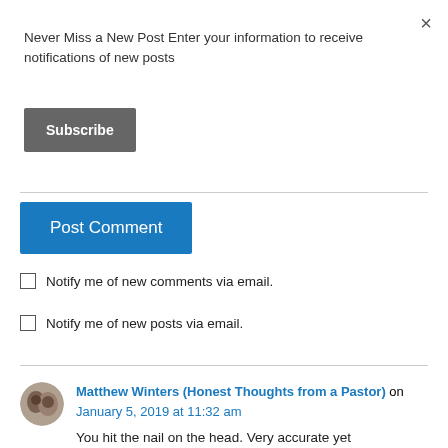×
Never Miss a New Post Enter your information to receive notifications of new posts
[Figure (screenshot): Subscribe button — dark grey rounded rectangle with white bold text 'Subscribe']
[Figure (screenshot): Post Comment button — blue rectangle with white text 'Post Comment']
Notify me of new comments via email.
Notify me of new posts via email.
Matthew Winters (Honest Thoughts from a Pastor) on January 5, 2019 at 11:32 am
You hit the nail on the head. Very accurate yet